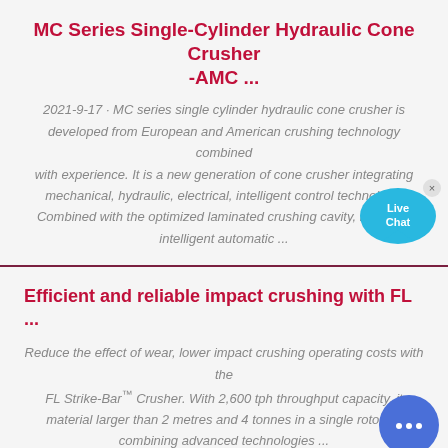MC Series Single-Cylinder Hydraulic Cone Crusher -AMC ...
2021-9-17 · MC series single cylinder hydraulic cone crusher is developed from European and American crushing technology combined with experience. It is a new generation of cone crusher integrating mechanical, hydraulic, electrical, intelligent control technology. Combined with the optimized laminated crushing cavity, it has full intelligent automatic ...
Efficient and reliable impact crushing with FL ...
Reduce the effect of wear, lower impact crushing operating costs with the FL Strike-Bar™ Crusher. With 2,600 tph throughput capacity, it material larger than 2 metres and 4 tonnes in a single rotor op combining advanced technologies ...